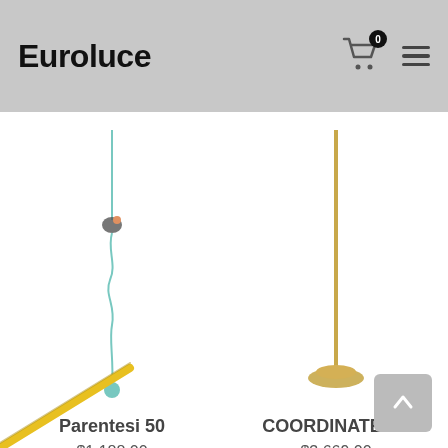Euroluce
[Figure (photo): Parentesi 50 pendant lamp with teal wire and small round weight at the bottom against white background]
Parentesi 50
$1,188.00
[Figure (photo): COORDINATES F floor lamp, slender gold/brass vertical pole with round base, against white background]
COORDINATES F
$3,669.00
[Figure (photo): Partial view of a yellow/gold diagonal lamp or light fixture emerging from bottom left corner]
[Figure (other): Scroll-to-top button with upward arrow, grey rounded rectangle, bottom right corner]